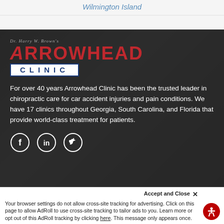Wilmington Island
[Figure (logo): Arrowhead Clinic logo with red italic text 'Dr. Harry W. Brown's' above large red ARROWHEAD text and navy CLINIC in white bar]
For over 40 years Arrowhead Clinic has been the trusted leader in chiropractic care for car accident injuries and pain conditions. We have 17 clinics throughout Georgia, South Carolina, and Florida that provide world-class treatment for patients.
[Figure (infographic): Social media icons: Facebook, LinkedIn, Twitter — white circle outlines on dark background]
Resources
Accept and Close ✕
Your browser settings do not allow cross-site tracking for advertising. Click on this page to allow AdRoll to use cross-site tracking to tailor ads to you. Learn more or opt out of this AdRoll tracking by clicking here. This message only appears once.